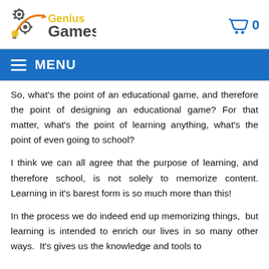[Figure (logo): Genius Games logo with gears, lightbulb, and orange/yellow/grey text]
[Figure (other): Shopping cart icon with number 0]
MENU
So, what's the point of an educational game, and therefore the point of designing an educational game? For that matter, what's the point of learning anything, what's the point of even going to school?
I think we can all agree that the purpose of learning, and therefore school, is not solely to memorize content. Learning in it's barest form is so much more than this!
In the process we do indeed end up memorizing things, but learning is intended to enrich our lives in so many other ways. It's gives us the knowledge and tools to